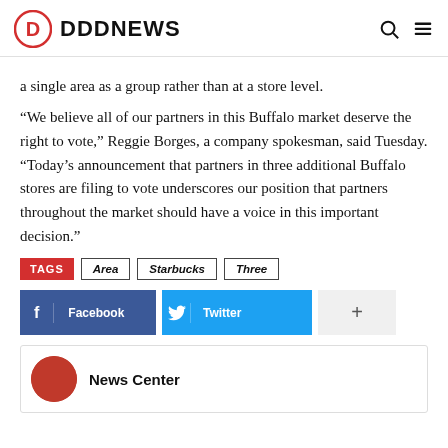DDDNEWS
a single area as a group rather than at a store level.
“We believe all of our partners in this Buffalo market deserve the right to vote,” Reggie Borges, a company spokesman, said Tuesday. “Today’s announcement that partners in three additional Buffalo stores are filing to vote underscores our position that partners throughout the market should have a voice in this important decision.”
TAGS: Area, Starbucks, Three
Facebook | Twitter | +
News Center